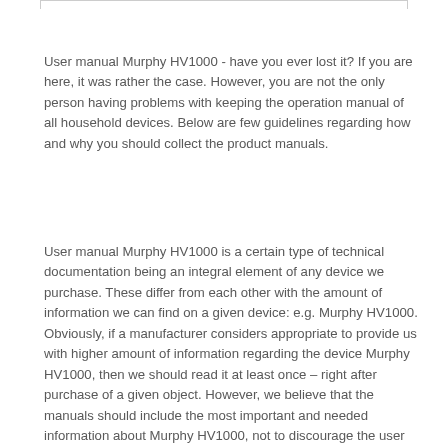User manual Murphy HV1000 - have you ever lost it? If you are here, it was rather the case. However, you are not the only person having problems with keeping the operation manual of all household devices. Below are few guidelines regarding how and why you should collect the product manuals.
User manual Murphy HV1000 is a certain type of technical documentation being an integral element of any device we purchase. These differ from each other with the amount of information we can find on a given device: e.g. Murphy HV1000. Obviously, if a manufacturer considers appropriate to provide us with higher amount of information regarding the device Murphy HV1000, then we should read it at least once – right after purchase of a given object. However, we believe that the manuals should include the most important and needed information about Murphy HV1000, not to discourage the user to read.